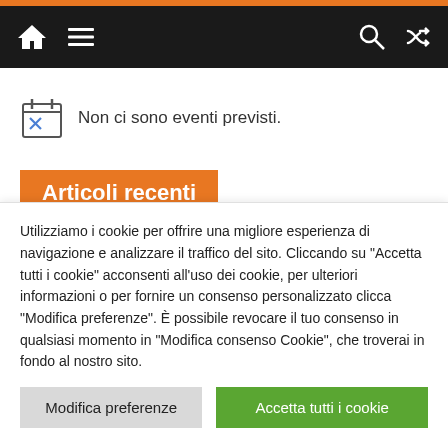Navigation bar with home, menu, search, and shuffle icons
Non ci sono eventi previsti.
Articoli recenti
Autovelox S.S. 33 ad Arona, ha il limite dei 50km/h?
Utilizziamo i cookie per offrire una migliore esperienza di navigazione e analizzare il traffico del sito. Cliccando su "Accetta tutti i cookie" acconsenti all'uso dei cookie, per ulteriori informazioni o per fornire un consenso personalizzato clicca "Modifica preferenze". È possibile revocare il tuo consenso in qualsiasi momento in "Modifica consenso Cookie", che troverai in fondo al nostro sito.
Modifica preferenze
Accetta tutti i cookie